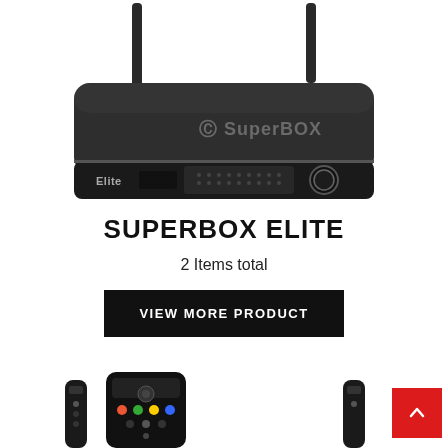[Figure (photo): SuperBOX Elite streaming device with two antennas on top, dark gray/black color with 'SuperBOX' logo on top and 'Elite' label on front, speaker grille and circular button visible on front panel]
SUPERBOX ELITE
2 Items total
VIEW MORE PRODUCT
[Figure (photo): Bottom strip showing partial view of SuperBOX Elite remote controls and device]